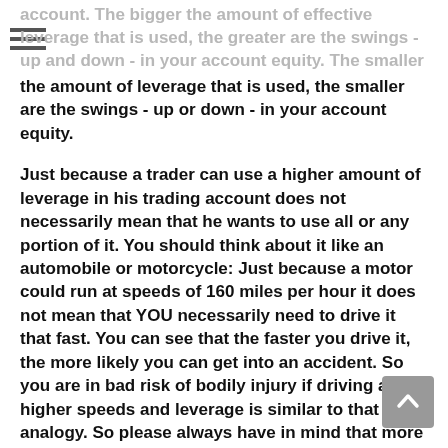account. The bigger the amount of effective leverage that is used, the greater are the swings - up and down - in your account equity. The smaller the amount of leverage that is used, the smaller are the swings - up or down - in your account equity.
Just because a trader can use a higher amount of leverage in his trading account does not necessarily mean that he wants to use all or any portion of it. You should think about it like an automobile or motorcycle: Just because a motor could run at speeds of 160 miles per hour it does not mean that YOU necessarily need to drive it that fast. You can see that the faster you drive it, the more likely you can get into an accident. So you are in bad risk of bodily injury if driving at higher speeds and leverage is similar to that analogy. So please always have in mind that more leverage puts your trading account at risk.
Please have a look at our margin calculator which